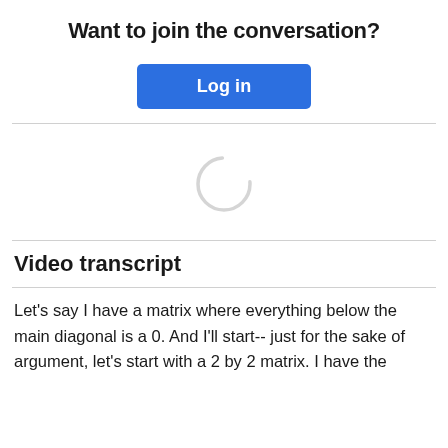Want to join the conversation?
[Figure (other): Blue 'Log in' button]
[Figure (other): Loading spinner — circular arc, light gray, indicating content loading]
Video transcript
Let's say I have a matrix where everything below the main diagonal is a 0. And I'll start-- just for the sake of argument, let's start with a 2 by 2 matrix. I have the